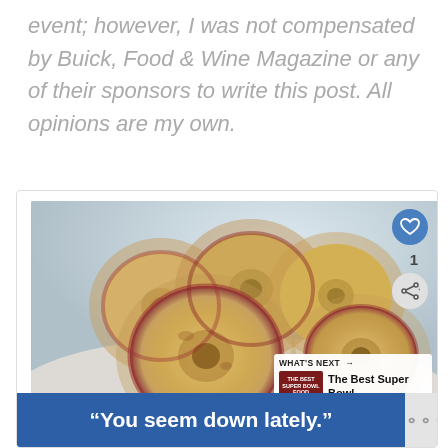event; however, I was not compensated by Buick, Food & Wine Magazine or any of their sponsors to write this post. All opinions are my own.
[Figure (photo): Close-up photo of dried apple chips/slices arranged in a white dish, with cinnamon dusting visible on the slices. The apple rings show the core hole and red skin edges.]
WHAT'S NEXT → The Best Super Bowl...
"You seem down lately."